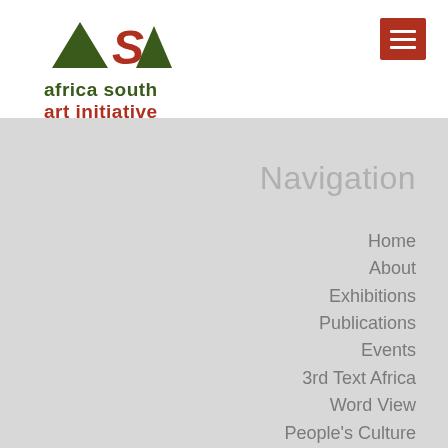[Figure (logo): ASAI - Africa South Art Initiative logo with geometric triangle and square shapes in dark green and red, with text 'africa south art initiative']
Navigation
Home
About
Exhibitions
Publications
Events
3rd Text Africa
Word View
People's Culture
SA Artists Index
Links